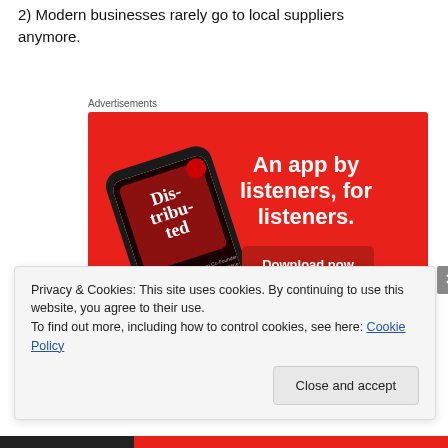2) Modern businesses rarely go to local suppliers anymore.
Advertisements
[Figure (screenshot): Advertisement banner with red background showing a smartphone with a podcast app displaying 'Distributed' cover art. Text reads: 'An app by listeners, for listeners.' with a 'Download now' button.]
Privacy & Cookies: This site uses cookies. By continuing to use this website, you agree to their use.
To find out more, including how to control cookies, see here: Cookie Policy
Close and accept